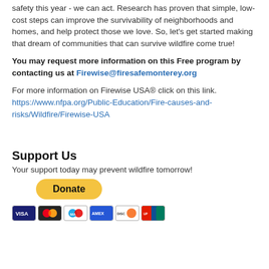safety this year - we can act. Research has proven that simple, low-cost steps can improve the survivability of neighborhoods and homes, and help protect those we love.  So, let's get started making that dream of communities that can survive wildfire come true!
You may request more information on this Free program by contacting us at Firewise@firesafemonterey.org
For more information on Firewise USA® click on this link. https://www.nfpa.org/Public-Education/Fire-causes-and-risks/Wildfire/Firewise-USA
Support Us
Your support today may prevent wildfire tomorrow!
[Figure (other): PayPal Donate button (yellow rounded rectangle) and payment card logos: Visa, Mastercard, Mastercard (Maestro), American Express, Discover, UnionPay]